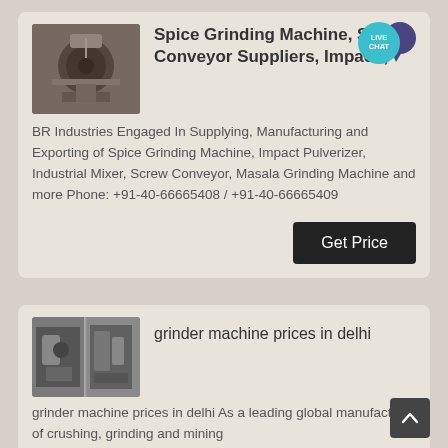[Figure (screenshot): Industrial spice grinding machine photo thumbnail]
Spice Grinding Machine, Screw Conveyor Suppliers, Impact ,
BR Industries Engaged In Supplying, Manufacturing and Exporting of Spice Grinding Machine, Impact Pulverizer, Industrial Mixer, Screw Conveyor, Masala Grinding Machine and more Phone: +91-40-66665408 / +91-40-66665409
[Figure (screenshot): Industrial grinder machine photo thumbnails (two images side by side)]
grinder machine prices in delhi
grinder machine prices in delhi As a leading global manufacturer of crushing, grinding and mining